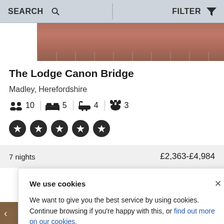SEARCH   FILTER
[Figure (photo): Top portion of a gravel driveway or path, brownish-red tones, partially visible]
The Lodge Canon Bridge
Madley, Herefordshire
10 guests  5 bedrooms  4 bathrooms  3 pets
5 star rating (five filled star circles)
7 nights   £2,363-£4,984
We use cookies

We want to give you the best service by using cookies. Continue browsing if you're happy with this, or find out more on our cookies.
[Figure (photo): Small thumbnail of a property exterior with blue sky and bare tree]
[Figure (photo): Bottom thumbnail strip showing property exterior]